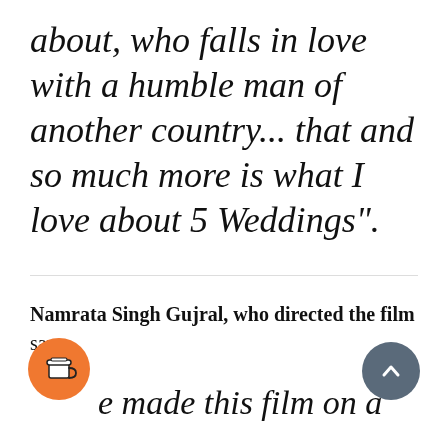about, who falls in love with a humble man of another country... that and so much more is what I love about 5 Weddings".
Namrata Singh Gujral, who directed the film says,
e made this film on a
[Figure (illustration): Orange circular button with a coffee cup icon]
[Figure (illustration): Dark blue-grey circular button with an upward chevron arrow icon]